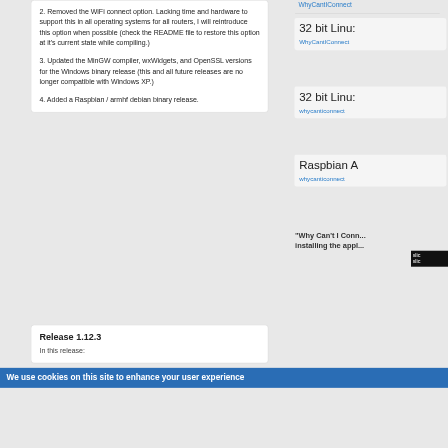2. Removed the WiFi connect option. Lacking time and hardware to support this in all operating systems for all routers, I will reintroduce this option when possible (check the README file to restore this option at it's current state while compiling.)
3. Updated the MinGW compiler, wxWidgets, and OpenSSL versions for the Windows binary release (this and all future releases are no longer compatible with Windows XP.)
4. Added a Raspbian / armhf debian binary release.
WhyCantIConnect (link, truncated)
32 bit Linu:
WhyCantIConnect (link, truncated)
32 bit Linu:
whycanticonnect (link, truncated)
Raspbian A
whycanticonnect (link, truncated)
"Why Can't I Conn... installing the appl..."
Release 1.12.3
In this release:
We use cookies on this site to enhance your user experience